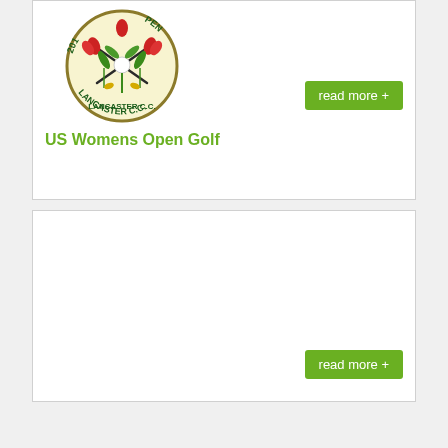[Figure (logo): US Womens Open Golf Lancaster Country Club circular logo with tulip and golf club design, year 2015]
read more +
US Womens Open Golf
read more +